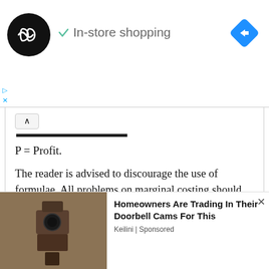[Figure (screenshot): Advertisement banner with circular logo (black with infinity/loop symbol), checkmark icon, 'In-store shopping' text, and a blue diamond navigation icon on the right. Small play/close controls at bottom left.]
P = Profit.
The reader is advised to discourage the use of formulae. All problems on marginal costing should be attempted by use of this basic relationship, as far as possible.
We use cookies on our website to give you the most relevant experience by remembering your preferences and repeat visits. By clicking “Accept”, you consent to the use of ALL the cookies.
Do not sell my personal information.
[Figure (screenshot): Advertisement overlay at bottom: photo of a security camera/doorbell on a wall, with text 'Homeowners Are Trading In Their Doorbell Cams For This', source 'Keilini | Sponsored', and a close X button.]